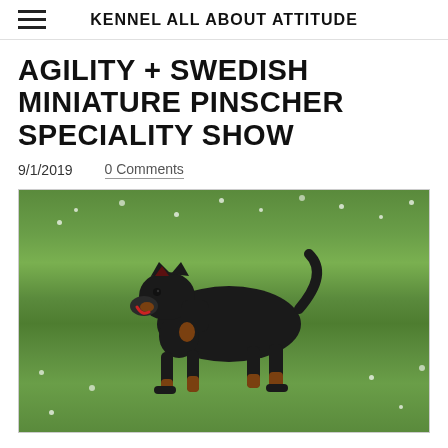KENNEL ALL ABOUT ATTITUDE
AGILITY + SWEDISH MINIATURE PINSCHER SPECIALITY SHOW
9/1/2019    0 Comments
[Figure (photo): A black and tan Miniature Pinscher dog running on green grass with white clover flowers, photographed in profile showing its gait with front leg extended.]